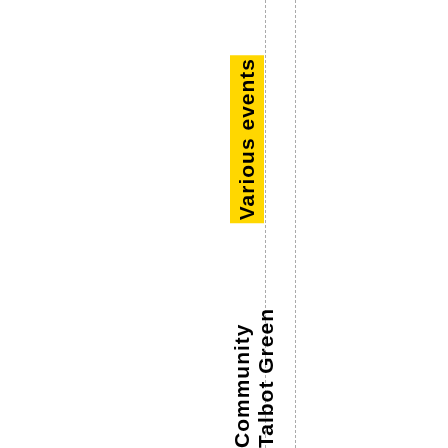Various events
Talbot Green Community